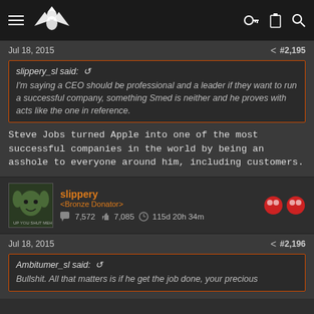Forum navigation bar with hamburger menu, logo, key icon, clipboard icon, search icon
Jul 18, 2015   #2,195
slippery_sl said: ↩
I'm saying a CEO should be professional and a leader if they want to run a successful company, something Smed is neither and he proves with acts like the one in reference.
Steve Jobs turned Apple into one of the most successful companies in the world by being an asshole to everyone around him, including customers.
slippery
<Bronze Donator>
7,572  7,085  115d 20h 34m
Jul 18, 2015   #2,196
Ambitumer_sl said: ↩
Bullshit. All that matters is if he get the job done, your precious...